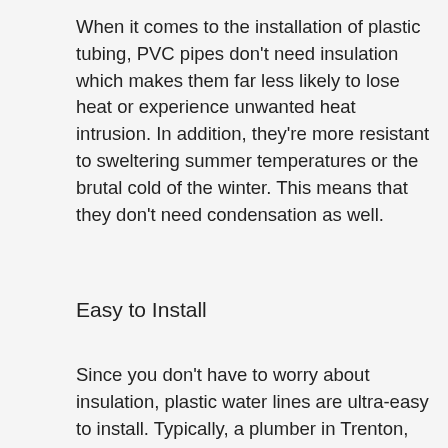When it comes to the installation of plastic tubing, PVC pipes don't need insulation which makes them far less likely to lose heat or experience unwanted heat intrusion. In addition, they're more resistant to sweltering summer temperatures or the brutal cold of the winter. This means that they don't need condensation as well.
Easy to Install
Since you don't have to worry about insulation, plastic water lines are ultra-easy to install. Typically, a plumber in Trenton, NJ will need a CPVC primer or some form of plumbing cement to glue the pipes together. And in just a few minutes, your pipes are ready to go. Similar to repairing a plastic pipe, you may need to cut out the damaged section of